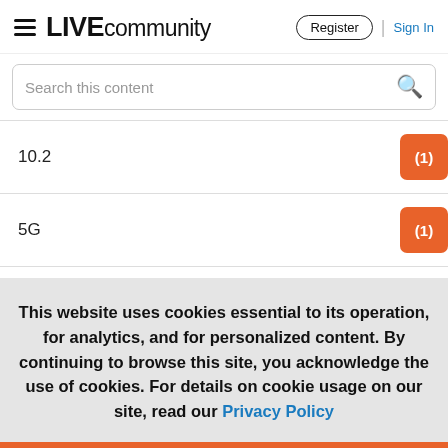LIVE community | Register | Sign In
Search this content
10.2  (1)
5G  (1)
AMA  (2)
This website uses cookies essential to its operation, for analytics, and for personalized content. By continuing to browse this site, you acknowledge the use of cookies. For details on cookie usage on our site, read our Privacy Policy
Accept | Reject